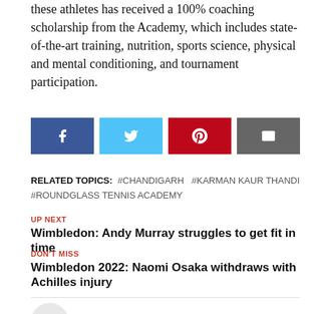these athletes has received a 100% coaching scholarship from the Academy, which includes state-of-the-art training, nutrition, sports science, physical and mental conditioning, and tournament participation.
[Figure (infographic): Four social sharing buttons: Facebook (dark blue with f icon), Twitter (light blue with bird icon), Pinterest (red with P icon), Email (gray with envelope icon)]
RELATED TOPICS: #CHANDIGARH  #KARMAN KAUR THANDI  #ROUNDGLASS TENNIS ACADEMY
UP NEXT
Wimbledon: Andy Murray struggles to get fit in time
DON'T MISS
Wimbledon 2022: Naomi Osaka withdraws with Achilles injury
Sports Lounge Staff